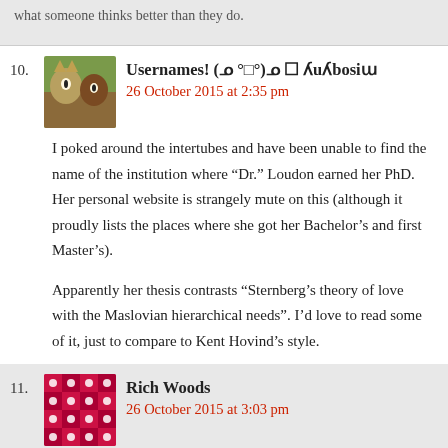what someone thinks better than they do.
10. Usernames! (ᓄ °□°)ᓄ ☐ ʎuʎbosiɯ — 26 October 2015 at 2:35 pm — I poked around the intertubes and have been unable to find the name of the institution where "Dr." Loudon earned her PhD. Her personal website is strangely mute on this (although it proudly lists the places where she got her Bachelor's and first Master's). Apparently her thesis contrasts "Sternberg's theory of love with the Maslovian hierarchical needs". I'd love to read some of it, just to compare to Kent Hovind's style.
11. Rich Woods — 26 October 2015 at 3:03 pm